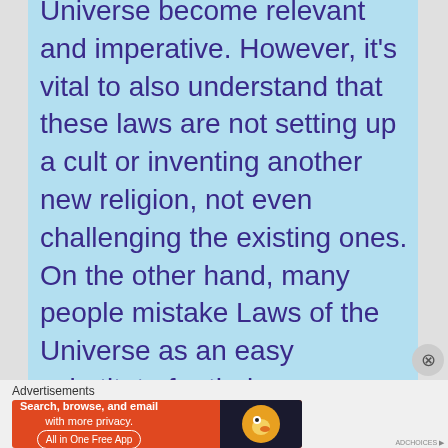Universe become relevant and imperative. However, it’s vital to also understand that these laws are not setting up a cult or inventing another new religion, not even challenging the existing ones. On the other hand, many people mistake Laws of the Universe as an easy substitute for their own religion which didn’t yield the desired results in life. Fact is, not many
Advertisements
[Figure (screenshot): DuckDuckGo advertisement banner: orange background with text 'Search, browse, and email with more privacy. All in One Free App' and DuckDuckGo logo on dark background.]